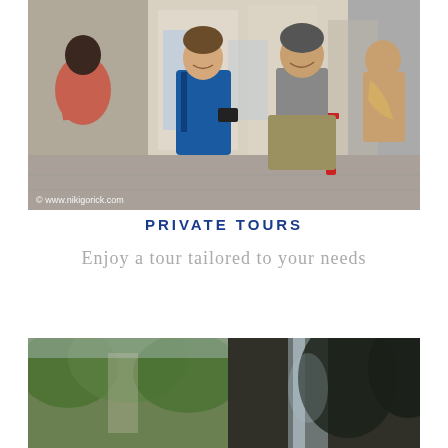[Figure (photo): Tour guide in blue polo shirt holding a device, smiling and talking with tourists on a city street. A woman in pink top on the left, a man in grey shirt and shorts laughing, and a woman with a scarf on the right. Copyright watermark: © www.nikigorick.com]
PRIVATE TOURS
Enjoy a tour tailored to your needs
[Figure (photo): Outdoor nature/urban scene with trees and buildings visible, partial view at bottom of page.]